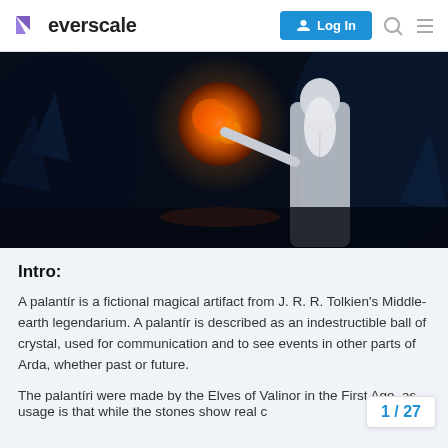everscale  Log In
[Figure (photo): A wizard-like figure in white robes holding a glowing orb/palantír, dark cinematic scene]
Intro:
A palantír is a fictional magical artifact from J. R. R. Tolkien's Middle-earth legendarium. A palantír is described as an indestructible ball of crystal, used for communication and to see events in other parts of Arda, whether past or future.
The palantíri were made by the Elves of Valinor in the First Age, as told in The Silmarillion. A major th usage is that while the stones show real c
1 / 27